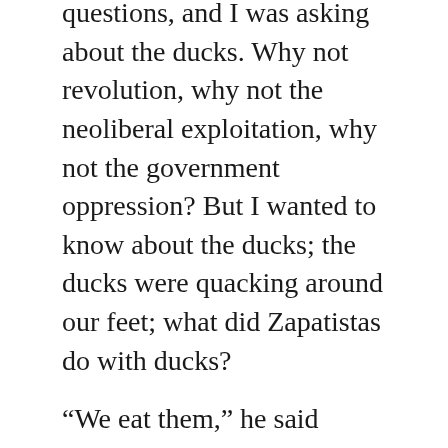questions, and I was asking about the ducks. Why not revolution, why not the neoliberal exploitation, why not the government oppression? But I wanted to know about the ducks; the ducks were quacking around our feet; what did Zapatistas do with ducks?

“We eat them,” he said
“We eat them,” he said